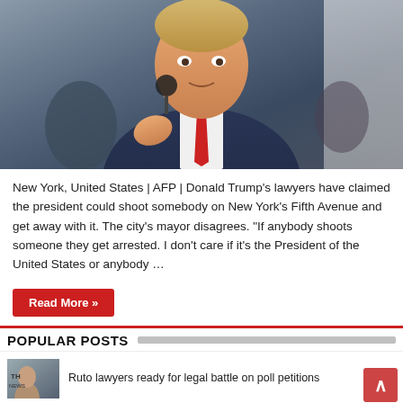[Figure (photo): Donald Trump speaking at a microphone, wearing a navy suit and red tie, gesturing with his hand, with an American flag in the background]
New York, United States | AFP | Donald Trump's lawyers have claimed the president could shoot somebody on New York's Fifth Avenue and get away with it. The city's mayor disagrees. "If anybody shoots someone they get arrested. I don't care if it's the President of the United States or anybody …
Read More »
POPULAR POSTS
Ruto lawyers ready for legal battle on poll petitions